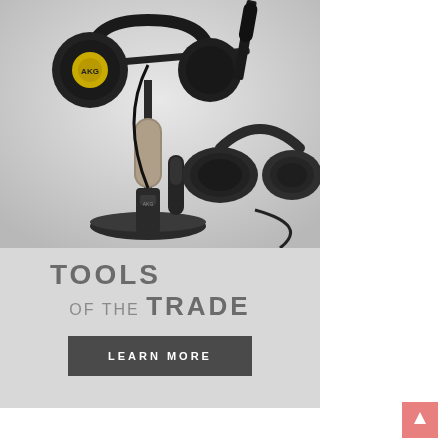[Figure (photo): AKG audio equipment advertisement photo showing microphones on stands and headphones on a light grey background]
TOOLS OF THE TRADE
LEARN MORE